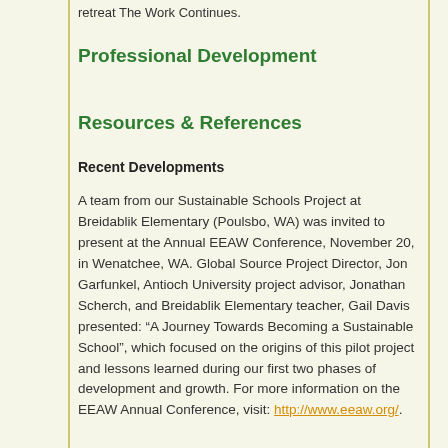retreat The Work Continues.
Professional Development
Resources & References
Recent Developments
A team from our Sustainable Schools Project at Breidablik Elementary (Poulsbo, WA) was invited to present at the Annual EEAW Conference, November 20, in Wenatchee, WA. Global Source Project Director, Jon Garfunkel, Antioch University project advisor, Jonathan Scherch, and Breidablik Elementary teacher, Gail Davis presented: “A Journey Towards Becoming a Sustainable School”, which focused on the origins of this pilot project and lessons learned during our first two phases of development and growth. For more information on the EEAW Annual Conference, visit: http://www.eeaw.org/.